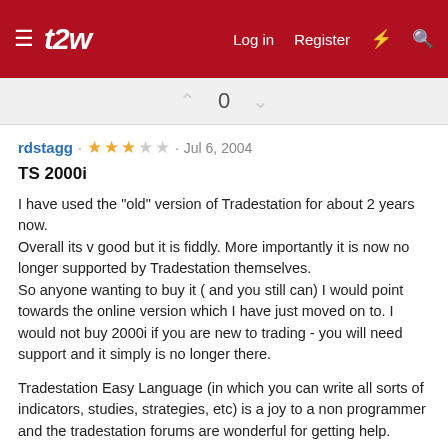t2w — Log in  Register
0
rdstagg · ★★★☆☆ · Jul 6, 2004
TS 2000i
I have used the "old" version of Tradestation for about 2 years now.
Overall its v good but it is fiddly. More importantly it is now no longer supported by Tradestation themselves.
So anyone wanting to buy it ( and you still can) I would point towards the online version which I have just moved on to. I would not buy 2000i if you are new to trading - you will need support and it simply is no longer there.

Tradestation Easy Language (in which you can write all sorts of indicators, studies, strategies, etc) is a joy to a non programmer and the tradestation forums are wonderful for getting help.